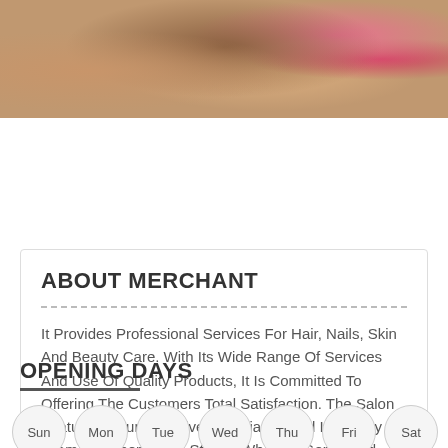[Figure (photo): Spa/beauty treatment photo showing a person with a facial mask and pink flower petals]
ABOUT MERCHANT
It Provides Professional Services For Hair, Nails, Skin And Beauty Care. With Its Wide Range Of Services And Use Of Quality Products, It Is Committed To Offering The Customers Total Satisfaction. The Salon Features A Fun And Lively Ambiance And Is Led By A Team Of Experienced Stylists Who Are Genial And Friendly
View Offers
OPENING DAYS
Sun Mon Tue Wed Thu Fri Sat